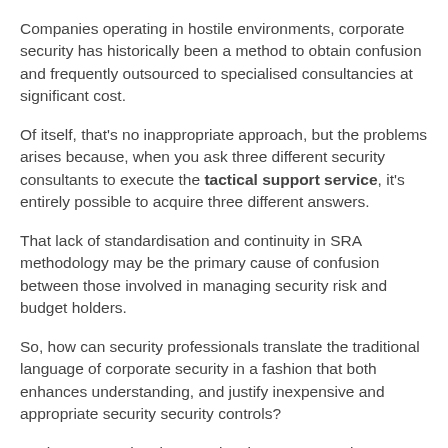Companies operating in hostile environments, corporate security has historically been a method to obtain confusion and frequently outsourced to specialised consultancies at significant cost.
Of itself, that's no inappropriate approach, but the problems arises because, when you ask three different security consultants to execute the tactical support service, it's entirely possible to acquire three different answers.
That lack of standardisation and continuity in SRA methodology may be the primary cause of confusion between those involved in managing security risk and budget holders.
So, how can security professionals translate the traditional language of corporate security in a fashion that both enhances understanding, and justify inexpensive and appropriate security controls?
As the paragraphs above make clear, SRA may be…